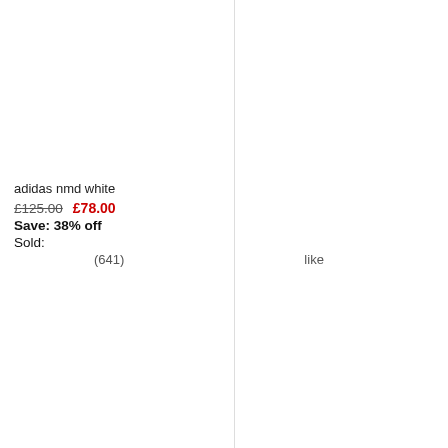[Figure (photo): Product image placeholder for adidas nmd white sneaker (top listing)]
adidas nmd white
£125.00  £78.00
Save: 38% off
Sold:
(641)  like
[Figure (photo): Product image placeholder for adidas nmd white sneaker (bottom listing)]
adidas nmd white